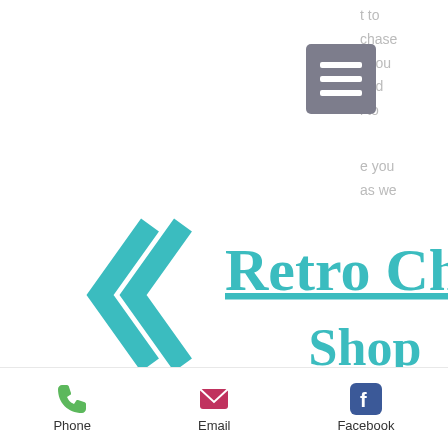t to
chase
r you
and
i to
[Figure (other): Hamburger menu button (three white horizontal lines on gray-purple background)]
[Figure (logo): Retro Chic Shop logo with teal double-chevron arrow and teal serif text reading 'Retro Chic Shop' with underline]
Shop for unique retro and nostalgic gifts
e you
as we
Never miss a blog post!
Enter your email here*
Phone
Email
Facebook